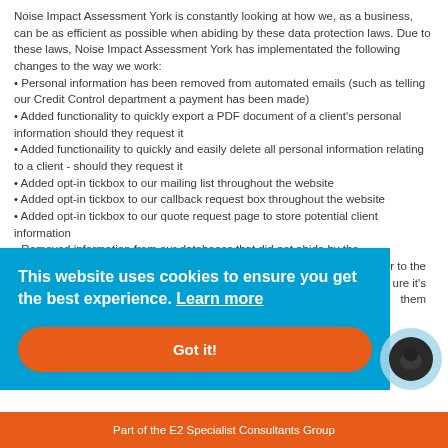Noise Impact Assessment York is constantly looking at how we, as a business, can be as efficient as possible when abiding by these data protection laws. Due to these laws, Noise Impact Assessment York has implementated the following changes to the way we work:
• Personal information has been removed from automated emails (such as telling our Credit Control department a payment has been made)
• Added functionality to quickly export a PDF document of a client's personal information should they request it
• Added functionaility to quickly and easily delete all personal information relating to a client - should they request it
• Added opt-in tickbox to our mailing list throughout the website
• Added opt-in tickbox to our callback request box throughout the website
• Added opt-in tickbox to our quote request page to store potential client information
• Removed information from our databases that did not abide by the
r to the
ure it's
them
[Figure (other): Cookie consent banner overlay with blue background reading 'This website uses cookies to ensure you get the best experience. Learn more' and an orange 'Got it!' button]
[Figure (other): Chat widget circle icon in blue/dark colors]
Part of the E2 Specialist Consultants Group